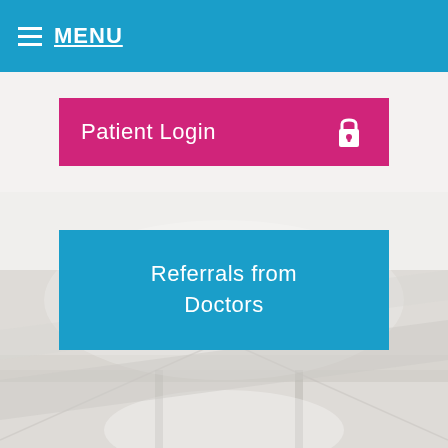MENU
[Figure (screenshot): Patient Login button with pink/magenta background and lock icon]
[Figure (screenshot): Referrals from Doctors button with blue background]
[Figure (logo): Diplomate American Board of Orthodontics logo with globe icon]
[Figure (photo): Background photo of a bright clinical/office interior with soft blurred window blinds and ceiling]